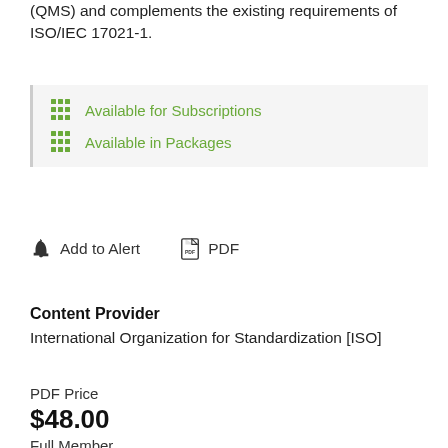(QMS) and complements the existing requirements of ISO/IEC 17021-1.
Available for Subscriptions
Available in Packages
Add to Alert   PDF
Content Provider
International Organization for Standardization [ISO]
PDF Price
$48.00
Full Member